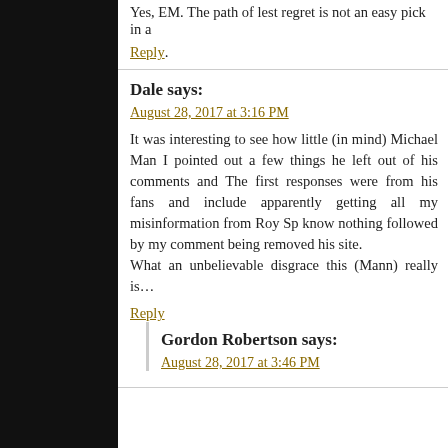Yes, EM. The path of lest regret is not an easy pick in a
Reply
Dale says:
August 28, 2017 at 3:16 PM
It was interesting to see how little (in mind) Michael Man I pointed out a few things he left out of his comments and The first responses were from his fans and include apparently getting all my misinformation from Roy Sp know nothing followed by my comment being removed his site.
What an unbelievable disgrace this (Mann) really is…
Reply
Gordon Robertson says:
August 28, 2017 at 3:46 PM